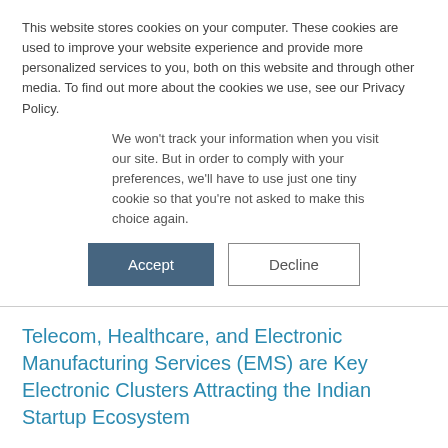This website stores cookies on your computer. These cookies are used to improve your website experience and provide more personalized services to you, both on this website and through other media. To find out more about the cookies we use, see our Privacy Policy.
We won't track your information when you visit our site. But in order to comply with your preferences, we'll have to use just one tiny cookie so that you're not asked to make this choice again.
Accept | Decline
Telecom, Healthcare, and Electronic Manufacturing Services (EMS) are Key Electronic Clusters Attracting the Indian Startup Ecosystem
RELEASE DATE
28-JUN-2019
REGION
ASIA PACIFIC
RESEARCH CODE: D8C0-01-00-00-00
SKU: ES01104-AP-TR_23313